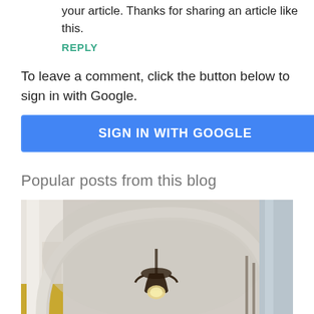your article. Thanks for sharing an article like this.
REPLY
To leave a comment, click the button below to sign in with Google.
SIGN IN WITH GOOGLE
Popular posts from this blog
[Figure (photo): Interior photo of a home with an arched ceiling, chandelier light fixture, white banister staircase, and decorative trim.]